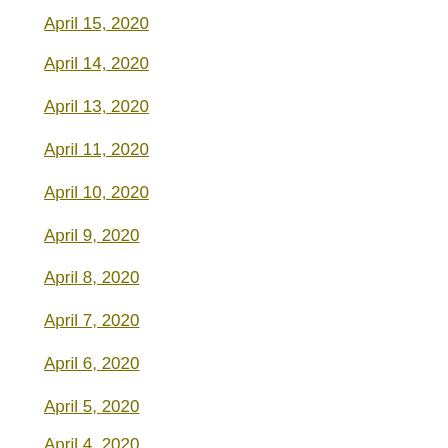April 15, 2020
April 14, 2020
April 13, 2020
April 11, 2020
April 10, 2020
April 9, 2020
April 8, 2020
April 7, 2020
April 6, 2020
April 5, 2020
April 4, 2020